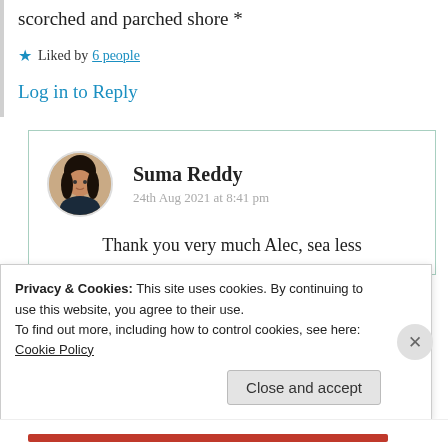scorched and parched shore *
★ Liked by 6 people
Log in to Reply
Suma Reddy
24th Aug 2021 at 8:41 pm
Thank you very much Alec, sea less
Privacy & Cookies: This site uses cookies. By continuing to use this website, you agree to their use.
To find out more, including how to control cookies, see here: Cookie Policy
Close and accept